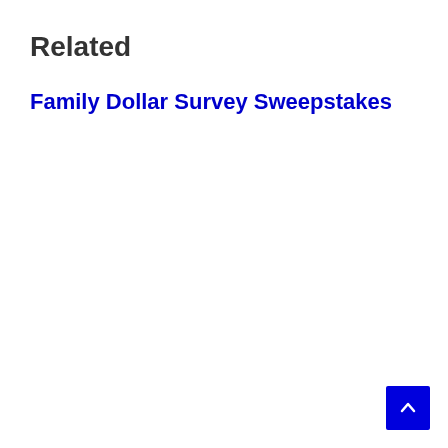Related
Family Dollar Survey Sweepstakes